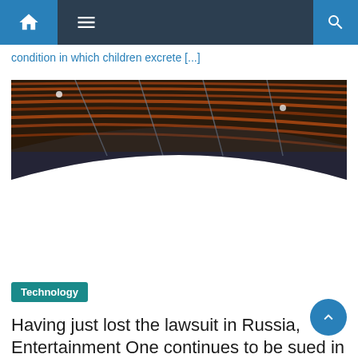Navigation bar with home, menu, and search icons
condition in which children excrete [...]
[Figure (photo): Architectural interior photo showing curved wooden slat ceiling with metallic and warm brown tones against a white curved surface]
Technology
Having just lost the lawsuit in Russia, Entertainment One continues to be sued in